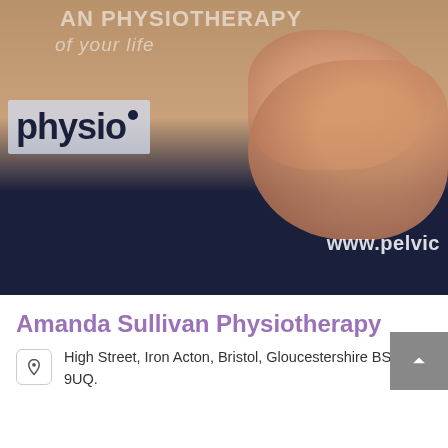[Figure (photo): Physiotherapy promotional image showing hands on a patient's lower back, with 'physio' logo overlay and text 'AN PHYSIOTHERAPY of your life' and 'www.pelvic' watermark on dark navy lower portion]
Amanda Sullivan Physiotherapy
High Street, Iron Acton, Bristol, Gloucestershire BS37 9UQ.